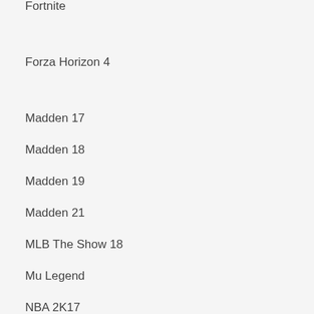Fortnite
Forza Horizon 4
Madden 17
Madden 18
Madden 19
Madden 21
MLB The Show 18
Mu Legend
NBA 2K17
NBA 2K18
NBA 2K21
NBA 2K22